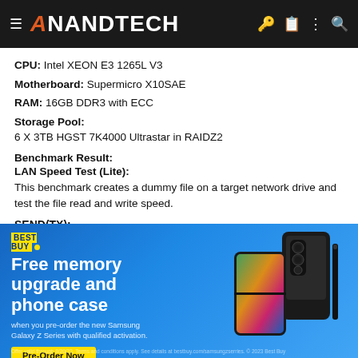AnandTech
CPU: Intel XEON E3 1265L V3
Motherboard: Supermicro X10SAE
RAM: 16GB DDR3 with ECC
Storage Pool: 6 X 3TB HGST 7K4000 Ultrastar in RAIDZ2
Benchmark Result:
LAN Speed Test (Lite):
This benchmark creates a dummy file on a target network drive and test the file read and write speed.
SEND(TX):
[Figure (other): Best Buy advertisement banner: Free memory upgrade and phone case when you pre-order the new Samsung Galaxy Z Series with qualified activation. Pre-Order Now button. Shows Samsung Galaxy Z Fold phone.]